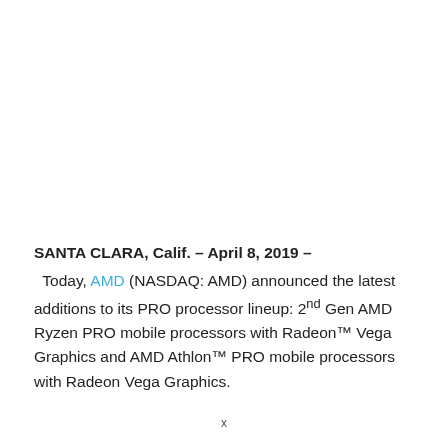SANTA CLARA, Calif. – April 8, 2019 – Today, AMD (NASDAQ: AMD) announced the latest additions to its PRO processor lineup: 2nd Gen AMD Ryzen PRO mobile processors with Radeon™ Vega Graphics and AMD Athlon™ PRO mobile processors with Radeon Vega Graphics.
x